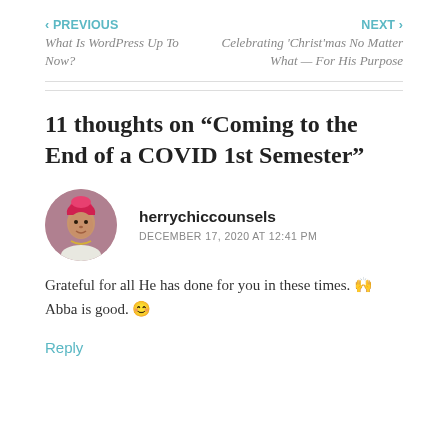‹ PREVIOUS
What Is WordPress Up To Now?
NEXT ›
Celebrating 'Christ'mas No Matter What — For His Purpose
11 thoughts on “Coming to the End of a COVID 1st Semester”
[Figure (photo): Circular avatar photo of commenter herrychiccounsels, a woman wearing a colorful head wrap]
herrychiccounsels
DECEMBER 17, 2020 AT 12:41 PM
Grateful for all He has done for you in these times. 🙌
Abba is good. 😊
Reply